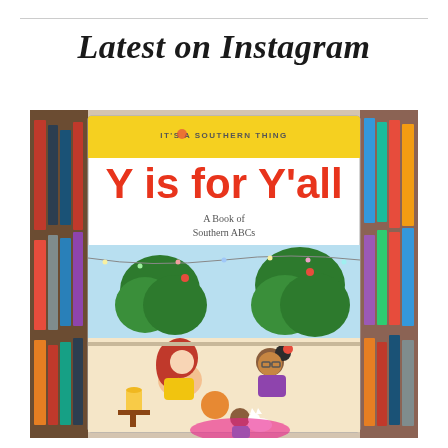Latest on Instagram
[Figure (photo): Photo of a children's book titled 'Y is for Y'all - A Book of Southern ABCs' by It's a Southern Thing, displayed on a bookshelf surrounded by colorful books on both sides. The book cover shows illustrated cartoon girls sitting together, a cat, and garden scenery.]